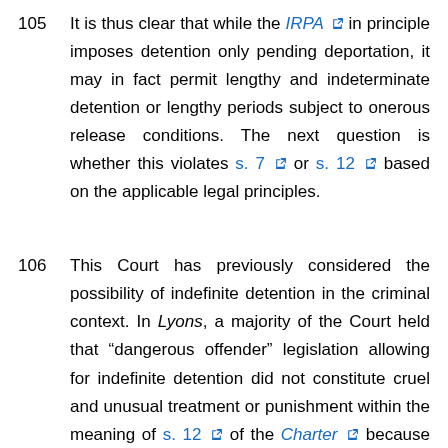105   It is thus clear that while the IRPA in principle imposes detention only pending deportation, it may in fact permit lengthy and indeterminate detention or lengthy periods subject to onerous release conditions. The next question is whether this violates s. 7 or s. 12 based on the applicable legal principles.
106   This Court has previously considered the possibility of indefinite detention in the criminal context. In Lyons, a majority of the Court held that "dangerous offender" legislation allowing for indefinite detention did not constitute cruel and unusual treatment or punishment within the meaning of s. 12 of the Charter because the